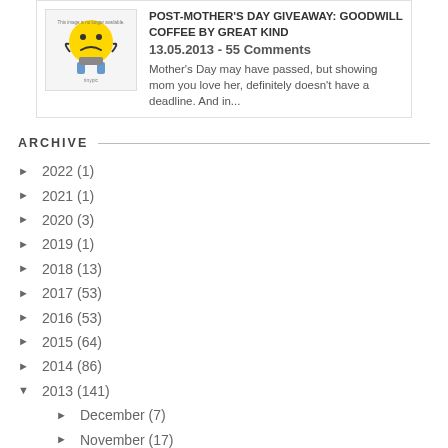[Figure (illustration): Placeholder sad face emoji image with 'tinypic' watermark text indicating the image is no longer available]
POST-MOTHER'S DAY GIVEAWAY: GOODWILL COFFEE BY GREAT KIND
13.05.2013 - 55 Comments
Mother's Day may have passed, but showing mom you love her, definitely doesn't have a deadline. And in...
ARCHIVE
► 2022 (1)
► 2021 (1)
► 2020 (3)
► 2019 (1)
► 2018 (13)
► 2017 (53)
► 2016 (53)
► 2015 (64)
► 2014 (86)
▼ 2013 (141)
► December (7)
► November (17)
► October (9)